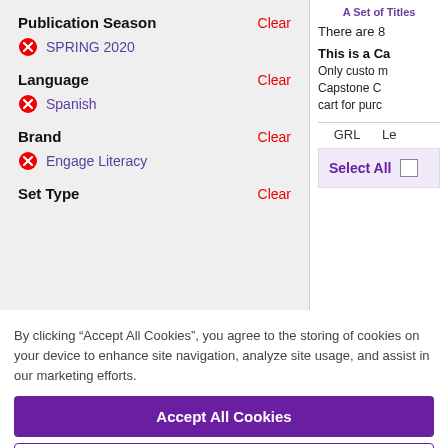Publication Season
Clear
SPRING 2020
Language
Clear
Spanish
Brand
Clear
Engage Literacy
Set Type
Clear
A Set of Titles
There are 8
This is a Ca
Only custo m
Capstone C
cart for purc
GRL
Le
Select All
By clicking “Accept All Cookies”, you agree to the storing of cookies on your device to enhance site navigation, analyze site usage, and assist in our marketing efforts.
Accept All Cookies
Cookies Settings